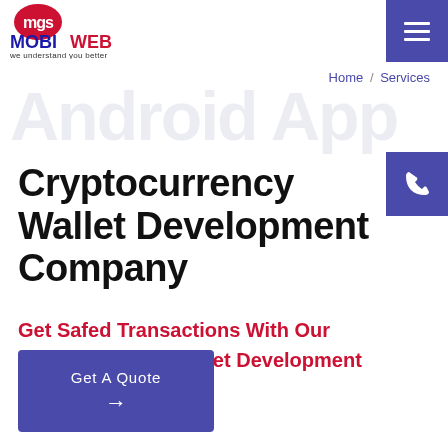[Figure (logo): MGS Mobiweb logo with red emblem and blue text 'MOBIWEB we understand you better']
Home / Services
Android App
Cryptocurrency Wallet Development Company
Get Safed Transactions With Our Cryptocurrency Wallet Development
Get A Quote →